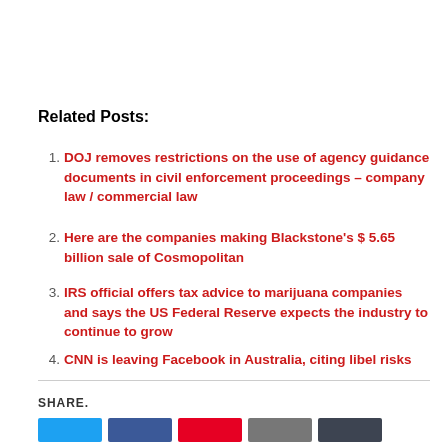Related Posts:
DOJ removes restrictions on the use of agency guidance documents in civil enforcement proceedings – company law / commercial law
Here are the companies making Blackstone's $ 5.65 billion sale of Cosmopolitan
IRS official offers tax advice to marijuana companies and says the US Federal Reserve expects the industry to continue to grow
CNN is leaving Facebook in Australia, citing libel risks
SHARE.